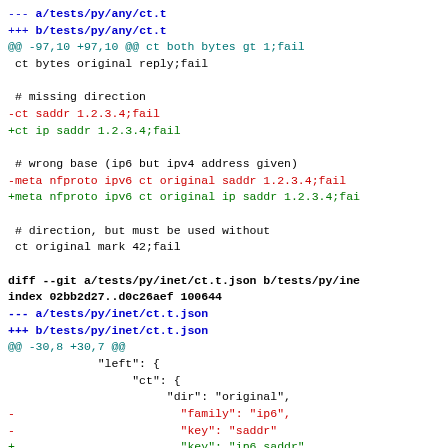--- a/tests/py/any/ct.t
+++ b/tests/py/any/ct.t
@@ -97,10 +97,10 @@ ct both bytes gt 1;fail
 ct bytes original reply;fail

 # missing direction
-ct saddr 1.2.3.4;fail
+ct ip saddr 1.2.3.4;fail

 # wrong base (ip6 but ipv4 address given)
-meta nfproto ipv6 ct original saddr 1.2.3.4;fail
+meta nfproto ipv6 ct original ip saddr 1.2.3.4;fai

 # direction, but must be used without
 ct original mark 42;fail

diff --git a/tests/py/inet/ct.t.json b/tests/py/ine
index 02bb2d27..d0c26aef 100644
--- a/tests/py/inet/ct.t.json
+++ b/tests/py/inet/ct.t.json
@@ -30,8 +30,7 @@
                "left": {
                     "ct": {
                          "dir": "original",
-                         "family": "ip6",
-                         "key": "saddr"
+                         "key": "ip6 saddr"
                    }
               },
          "op": "==",